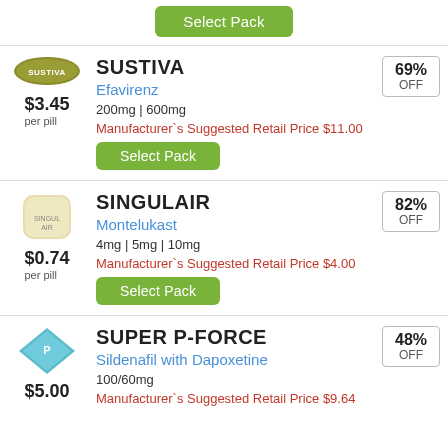[Figure (other): Green 'Select Pack' button at top of page]
[Figure (photo): Sustiva pill image - olive/tan oval tablet with SUSTIVA imprint]
SUSTIVA
Efavirenz
200mg | 600mg
Manufacturer`s Suggested Retail Price $11.00
69% OFF
$3.45 per pill
[Figure (other): Green 'Select Pack' button]
[Figure (photo): Singulair pill image - cream/beige rounded square tablet with SINGULAIR imprint]
SINGULAIR
Montelukast
4mg | 5mg | 10mg
Manufacturer`s Suggested Retail Price $4.00
82% OFF
$0.74 per pill
[Figure (other): Green 'Select Pack' button]
[Figure (photo): Super P-Force pill image - teal/cyan diamond shaped tablet with P imprint]
SUPER P-FORCE
Sildenafil with Dapoxetine
100/60mg
Manufacturer`s Suggested Retail Price $9.64
48% OFF
$5.00